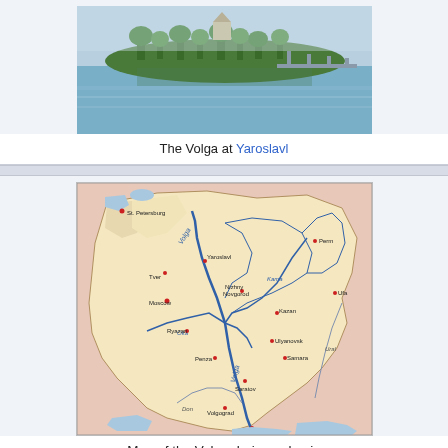[Figure (photo): Photograph of the Volga River at Yaroslavl, showing calm blue water with a forested island or bank in the background and a bridge visible in the distance.]
The Volga at Yaroslavl
[Figure (map): Map of the Volga drainage basin showing river tributaries including the Volga, Oka, Kama, Don, and Ural rivers, with labeled cities such as St. Petersburg, Moscow, Tver, Yaroslavl, Nizhny Novgorod, Kazan, Perm, Ufa, Samara, Ulyanovsk, Ryazan, Penza, Saratov, Volgograd, and Astrakhan.]
Map of the Volga drainage basin